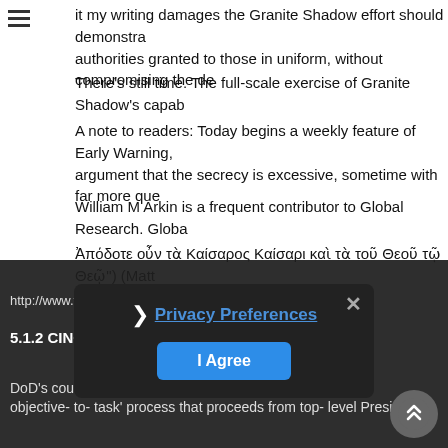it my writing damages the Granite Shadow effort should demonstra authorities granted to those in uniform, without compromising the de
There's still time. The full-scale exercise of Granite Shadow's capab
A note to readers: Today begins a weekly feature of Early Warning, argument that the secrecy is excessive, sometime with far more que
William M Arkin is a frequent contributor to Global Research. Globa
Ἀπόδοτε οὖν τὰ Καίσαρος Καίσαρι καὶ τὰ τοῦ Θεοῦ τῷ Θεῷ") (Matt
RevPaul
Pastor
Joined Apr 3, 2007
1,965 Posts
Discussion Starter · #4 · Dec 1, 2007
This is very lenghty, so here is a Short, with link
http://www.fas.org/spp/starwars/program/cprc97/cprc9705.htm
5.1.2 CINC Counte and Planning Activit
DoD's counterproliferation lities include the app o objective- to- task' process that proceeds from top- level President